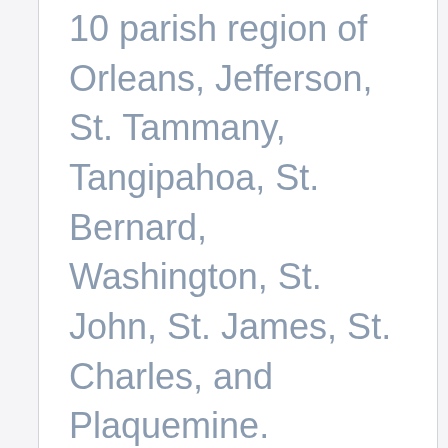10 parish region of Orleans, Jefferson, St. Tammany, Tangipahoa, St. Bernard, Washington, St. John, St. James, St. Charles, and Plaquemine.
JOB SUMMARY
The Executive Director is responsible for the